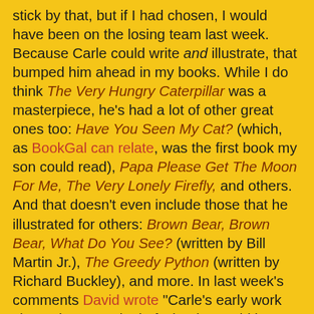stick by that, but if I had chosen, I would have been on the losing team last week. Because Carle could write and illustrate, that bumped him ahead in my books. While I do think The Very Hungry Caterpillar was a masterpiece, he's had a lot of other great ones too: Have You Seen My Cat? (which, as BookGal can relate, was the first book my son could read), Papa Please Get The Moon For Me, The Very Lonely Firefly, and others. And that doesn't even include those that he illustrated for others: Brown Bear, Brown Bear, What Do You See? (written by Bill Martin Jr.), The Greedy Python (written by Richard Buckley), and more. In last week's comments David wrote "Carle's early work showed a great deal of what he could have become as a fine artist." I respectfully disagree with that statement. I don't feel he wasted his talents at all. I often feel that picture book art is under-appreciated and Carle's Museum of Picture Book Art is the other reason I would have chosen him last week.
However, I'm still content with the results. Charlotte's Web was a favourite of mine as a child and I just finished reading it (a chapter a night) to my daughter, falling in love with it all over again. Unfortunately I haven't read anything else by